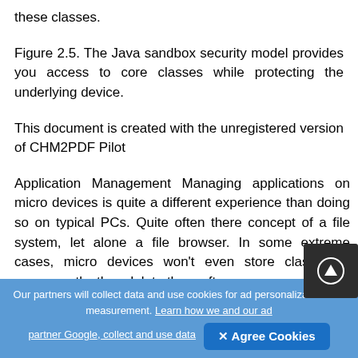these classes.
Figure 2.5. The Java sandbox security model provides you access to core classes while protecting the underlying device.
This document is created with the unregistered version of CHM2PDF Pilot
Application Management Managing applications on micro devices is quite a different experience than doing so on typical PCs. Quite often there concept of a file system, let alone a file browser. In some extreme cases, micro devices won't even store class files permanently; they delete them after you
Our partners will collect data and use cookies for ad personalization and measurement. Learn how we and our ad partner Google, collect and use data
✕ Agree Cookies